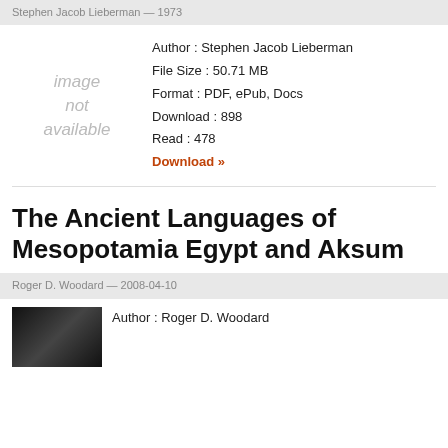Stephen Jacob Lieberman — 1973
[Figure (illustration): image not available placeholder]
Author : Stephen Jacob Lieberman
File Size : 50.71 MB
Format : PDF, ePub, Docs
Download : 898
Read : 478
Download »
The Ancient Languages of Mesopotamia Egypt and Aksum
Roger D. Woodard — 2008-04-10
[Figure (photo): Book cover thumbnail, dark image]
Author : Roger D. Woodard